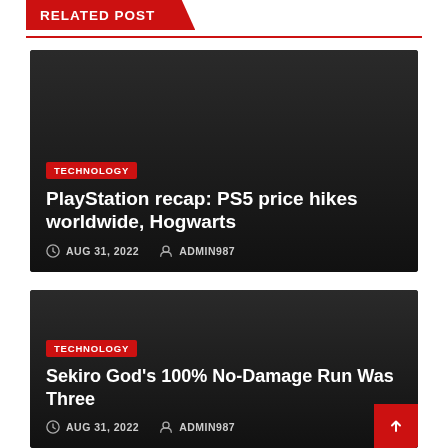RELATED POST
[Figure (screenshot): Dark article card with TECHNOLOGY badge and title: PlayStation recap: PS5 price hikes worldwide, Hogwarts. Date: AUG 31, 2022. Author: ADMIN987]
[Figure (screenshot): Dark article card with TECHNOLOGY badge and title: Sekiro God's 100% No-Damage Run Was Three. Date: AUG 31, 2022. Author: ADMIN987]